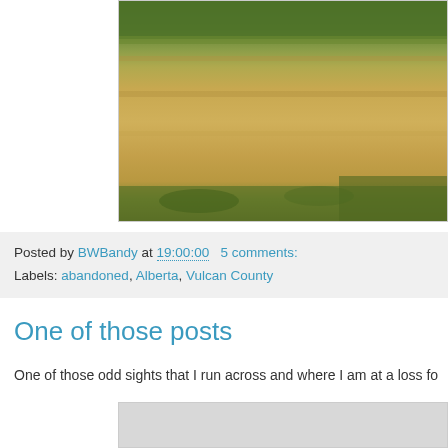[Figure (photo): Partial outdoor photograph showing dry grass/wheat field with green shrubs and trees in background, cropped on upper portion of the page]
Posted by BWBandy at 19:00:00   5 comments:
Labels: abandoned, Alberta, Vulcan County
One of those posts
One of those odd sights that I run across and where I am at a loss fo
[Figure (photo): Bottom portion of another photo, partially visible, light gray/silver tones]